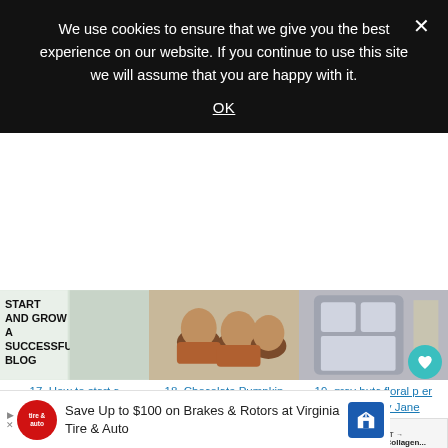We use cookies to ensure that we give you the best experience on our website. If you continue to use this site we will assume that you are happy with it.
OK
[Figure (photo): Blog post thumbnail: START AND GROW A SUCCESSFUL BLOG text on white background]
[Figure (photo): Photo of chocolate pumpkin cupcakes with nutella buttercream frosting]
[Figure (photo): Gray hutch floral furniture photo]
17. How to start a successful blog! » Lolly Jane
18. Chocolate Pumpkin Cupcakes with Nutella Buttercrea
19. gray hutc floral p er make » Lolly Jane
[Figure (photo): Colorful patterned craft paper thumbnail]
[Figure (photo): Decorative plate/ornament craft thumbnail]
[Figure (photo): What's Next: Benefits of Collagen sidebar with woman photo]
WHAT'S NEXT → Benefits of Collagen...
Save Up to $100 on Brakes & Rotors at Virginia Tire & Auto